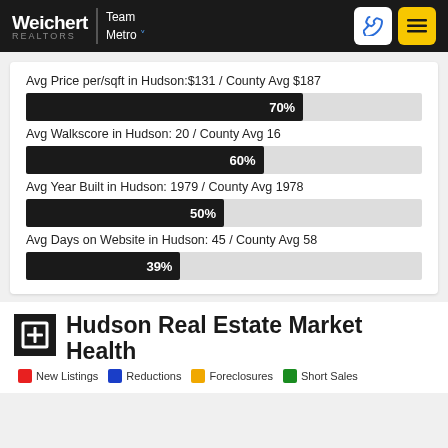Weichert Realtors | Team Metro
[Figure (bar-chart): Avg Price per/sqft in Hudson: $131 / County Avg $187]
Hudson Real Estate Market Health
New Listings  Reductions  Foreclosures  Short Sales